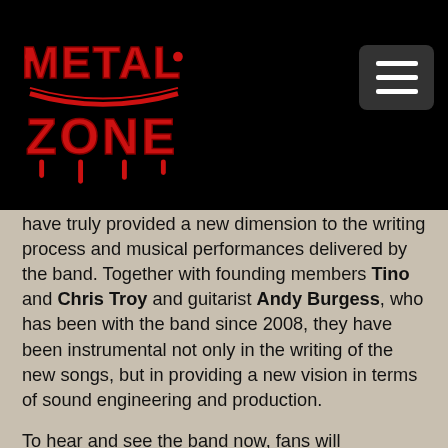[Figure (logo): Metal Zone logo in red/white on black background, stylized heavy metal font]
have truly provided a new dimension to the writing process and musical performances delivered by the band. Together with founding members Tino and Chris Troy and guitarist Andy Burgess, who has been with the band since 2008, they have been instrumental not only in the writing of the new songs, but in providing a new vision in terms of sound engineering and production.
To hear and see the band now, fans will experience both the spirit and energy of the early '80s together with a technical style that brings the band into the modern era.
Praying Mantis are now a well-established band of melodic hard rockers. Formed by brothers Tino and Chris Troy in 1973, together with bands like Iron Maiden, Def Leppard, Saxon, and others they spearheaded the NWOBHM (New Wave Of British Heavy Metal) movement. While they did not